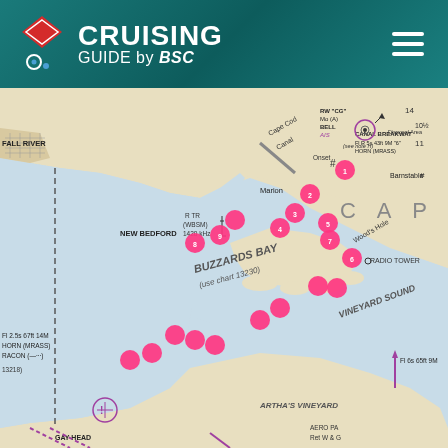CRUISING GUIDE by BSC
[Figure (map): Nautical chart map showing Buzzards Bay and Vineyard Sound area, including Fall River, New Bedford, Marion, Cape Cod Canal, Woods Hole, Martha's Vineyard, Gay Head, and Barnstable. Multiple pink circular markers indicate cruising guide waypoints. Labels include BUZZARDS BAY (use chart 13230), VINEYARD SOUND, CANAL BREAKWATER Fl R 5s 43ft 9M 6 HORN (MRASS), RADIO TOWER, RW CG Mo(A) BELL AIS, Disposal Area, Fl 2.5s 67ft 14M HORN (MRASS) RACON, Fl 6s 65ft 9M, R TR (WBSM) 1420 kHz, AERO PA.]